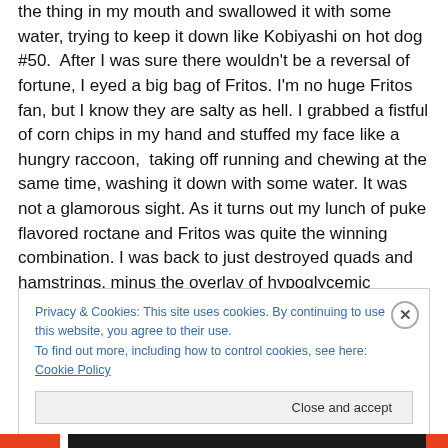the thing in my mouth and swallowed it with some water, trying to keep it down like Kobiyashi on hot dog #50.  After I was sure there wouldn't be a reversal of fortune, I eyed a big bag of Fritos. I'm no huge Fritos fan, but I know they are salty as hell. I grabbed a fistful of corn chips in my hand and stuffed my face like a hungry raccoon,  taking off running and chewing at the same time, washing it down with some water. It was not a glamorous sight. As it turns out my lunch of puke flavored roctane and Fritos was quite the winning combination. I was back to just destroyed quads and hamstrings, minus the overlay of hypoglycemic
Privacy & Cookies: This site uses cookies. By continuing to use this website, you agree to their use.
To find out more, including how to control cookies, see here: Cookie Policy
Close and accept